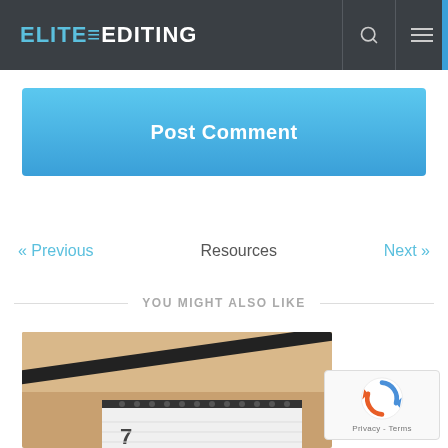ELITE EDITING
[Figure (screenshot): Post Comment button — a wide blue gradient button with white bold text reading 'Post Comment']
« Previous    Resources    Next »
YOU MIGHT ALSO LIKE
[Figure (photo): Partial photo of a desk calendar on a wooden surface]
[Figure (other): reCAPTCHA widget showing spinning arrows logo and 'Privacy - Terms' text]